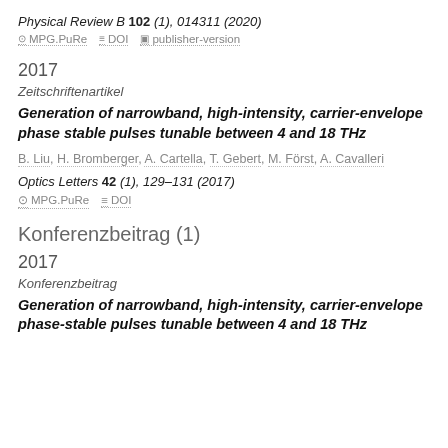Physical Review B 102 (1), 014311 (2020)
MPG.PuRe   DOI   publisher-version
2017
Zeitschriftenartikel
Generation of narrowband, high-intensity, carrier-envelope phase stable pulses tunable between 4 and 18 THz
B. Liu, H. Bromberger, A. Cartella, T. Gebert, M. Först, A. Cavalleri
Optics Letters 42 (1), 129–131 (2017)
MPG.PuRe   DOI
Konferenzbeitrag (1)
2017
Konferenzbeitrag
Generation of narrowband, high-intensity, carrier-envelope phase-stable pulses tunable between 4 and 18 THz